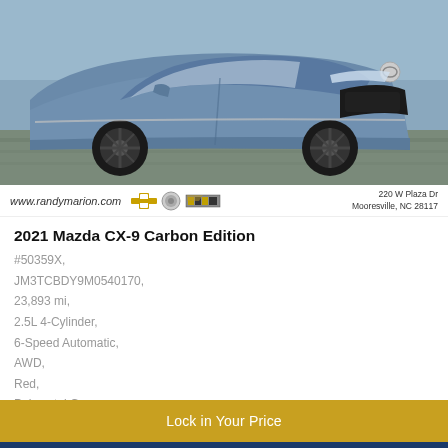[Figure (photo): Front/side view of a blue-gray 2021 Mazda CX-9 Carbon Edition SUV parked on a paved surface]
www.randymarion.com  220 W Plaza Dr Mooresville, NC 28117
2021 Mazda CX-9 Carbon Edition
#50359X, JM3TCBDY9M0540170, 23,893 mi, 2.5L 4-Cylinder, 6-Speed Automatic, AWD, Red, Polymetal Gray, Mooresville NC
King of Price: $39,108
Lock in Your Price